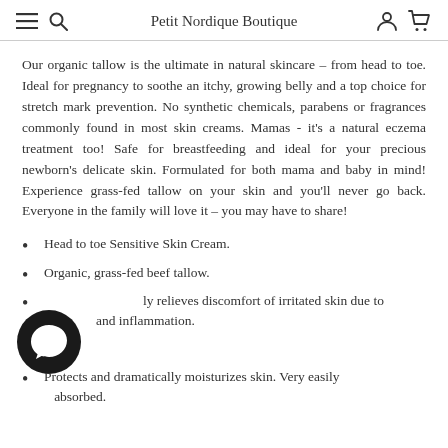Petit Nordique Boutique
Our organic tallow is the ultimate in natural skincare – from head to toe. Ideal for pregnancy to soothe an itchy, growing belly and a top choice for stretch mark prevention. No synthetic chemicals, parabens or fragrances commonly found in most skin creams. Mamas - it's a natural eczema treatment too! Safe for breastfeeding and ideal for your precious newborn's delicate skin. Formulated for both mama and baby in mind! Experience grass-fed tallow on your skin and you'll never go back. Everyone in the family will love it – you may have to share!
Head to toe Sensitive Skin Cream.
Organic, grass-fed beef tallow.
Quickly relieves discomfort of irritated skin due to dryness and inflammation.
Protects and dramatically moisturizes skin. Very easily absorbed.